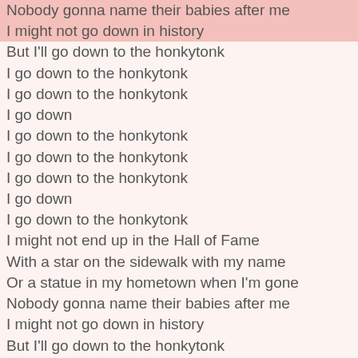Nobody gonna name their babies after me
I might not go down in history
But I'll go down to the honkytonk
I go down to the honkytonk
I go down to the honkytonk
I go down
I go down to the honkytonk
I go down to the honkytonk
I go down to the honkytonk
I go down
I go down to the honkytonk
I might not end up in the Hall of Fame
With a star on the sidewalk with my name
Or a statue in my hometown when I'm gone
Nobody gonna name their babies after me
I might not go down in history
But I'll go down to the honkytonk
I go down to the honkytonk
I go down to the honkytonk
I go down
I go down to the honkytonk
I go down to the honkytonk
I go down to the honkytonk